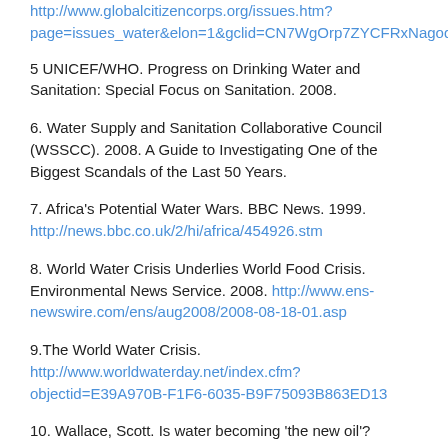http://www.globalcitizencorps.org/issues.htm?page=issues_water&elon=1&gclid=CN7WgOrp7ZYCFRxNagodBmgurg
5 UNICEF/WHO. Progress on Drinking Water and Sanitation: Special Focus on Sanitation. 2008.
6. Water Supply and Sanitation Collaborative Council (WSSCC). 2008. A Guide to Investigating One of the Biggest Scandals of the Last 50 Years.
7. Africa's Potential Water Wars. BBC News. 1999. http://news.bbc.co.uk/2/hi/africa/454926.stm
8. World Water Crisis Underlies World Food Crisis. Environmental News Service. 2008. http://www.ens-newswire.com/ens/aug2008/2008-08-18-01.asp
9.The World Water Crisis. http://www.worldwaterday.net/index.cfm?objectid=E39A970B-F1F6-6035-B9F75093B863ED13
10. Wallace, Scott. Is water becoming 'the new oil'?